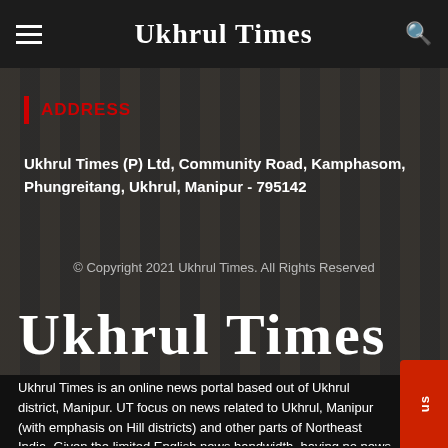Ukhrul Times
ADDRESS
Ukhrul Times (P) Ltd, Community Road, Kamphasom, Phungreitang, Ukhrul, Manipur - 795142
© Copyright 2021 Ukhrul Times. All Rights Reserved
[Figure (logo): Ukhrul Times blackletter logo in white on dark background]
Ukhrul Times is an online news portal based out of Ukhrul district, Manipur. UT focus on news related to Ukhrul, Manipur (with emphasis on Hill districts) and other parts of Northeast India. Given the limited English news bandwidth, having no news publication in Ukhrul, journalists at the forefront came together to fill the void in establishing Ukhrul Times with the underpinnings of independent